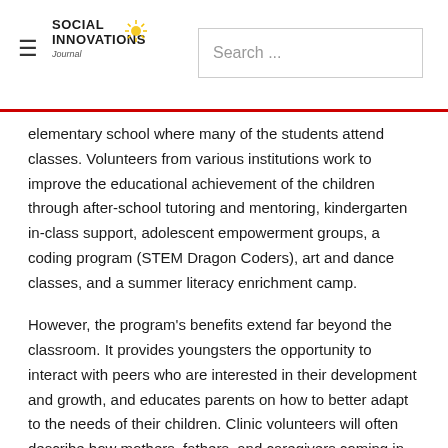Social Innovations Journal | Search ...
elementary school where many of the students attend classes. Volunteers from various institutions work to improve the educational achievement of the children through after-school tutoring and mentoring, kindergarten in-class support, adolescent empowerment groups, a coding program (STEM Dragon Coders), art and dance classes, and a summer literacy enrichment camp.
However, the program’s benefits extend far beyond the classroom. It provides youngsters the opportunity to interact with peers who are interested in their development and growth, and educates parents on how to better adapt to the needs of their children. Clinic volunteers will often describe how mothers, fathers, and caregivers coming in for visits express concerns to physicians about their children’s education, including not feeling like they are able to help with homework or participate in their schooling. Puentes de Salud has differentiated itself by encouraging staff to harness the capabilities of parents in its programming. Parents